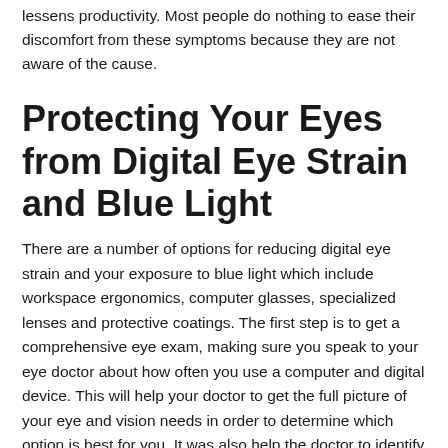lessens productivity. Most people do nothing to ease their discomfort from these symptoms because they are not aware of the cause.
Protecting Your Eyes from Digital Eye Strain and Blue Light
There are a number of options for reducing digital eye strain and your exposure to blue light which include workspace ergonomics, computer glasses, specialized lenses and protective coatings. The first step is to get a comprehensive eye exam, making sure you speak to your eye doctor about how often you use a computer and digital device. This will help your doctor to get the full picture of your eye and vision needs in order to determine which option is best for you. It was also help the doctor to identify any underlying issues that could be